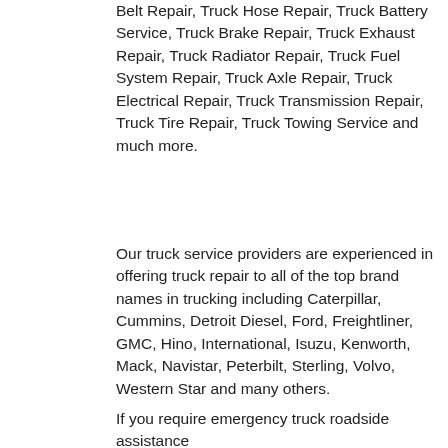Belt Repair, Truck Hose Repair, Truck Battery Service, Truck Brake Repair, Truck Exhaust Repair, Truck Radiator Repair, Truck Fuel System Repair, Truck Axle Repair, Truck Electrical Repair, Truck Transmission Repair, Truck Tire Repair, Truck Towing Service and much more.
Our truck service providers are experienced in offering truck repair to all of the top brand names in trucking including Caterpillar, Cummins, Detroit Diesel, Ford, Freightliner, GMC, Hino, International, Isuzu, Kenworth, Mack, Navistar, Peterbilt, Sterling, Volvo, Western Star and many others.
If you require emergency truck roadside assistance